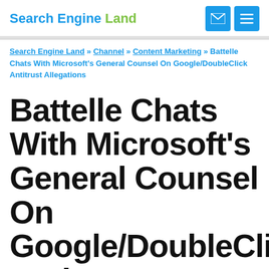Search Engine Land
Search Engine Land » Channel » Content Marketing » Battelle Chats With Microsoft's General Counsel On Google/DoubleClick Antitrust Allegations
Battelle Chats With Microsoft's General Counsel On Google/DoubleClick Antitrust Allegations